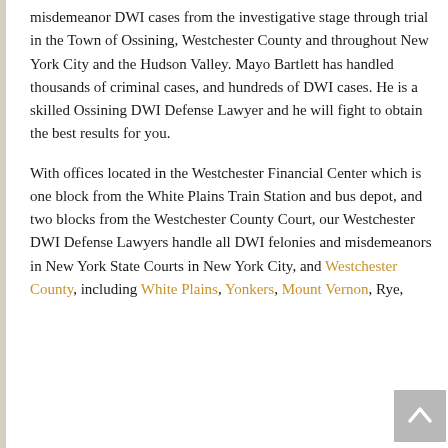misdemeanor DWI cases from the investigative stage through trial in the Town of Ossining, Westchester County and throughout New York City and the Hudson Valley. Mayo Bartlett has handled thousands of criminal cases, and hundreds of DWI cases. He is a skilled Ossining DWI Defense Lawyer and he will fight to obtain the best results for you.
With offices located in the Westchester Financial Center which is one block from the White Plains Train Station and bus depot, and two blocks from the Westchester County Court, our Westchester DWI Defense Lawyers handle all DWI felonies and misdemeanors in New York State Courts in New York City, and Westchester County, including White Plains, Yonkers, Mount Vernon, Rye,